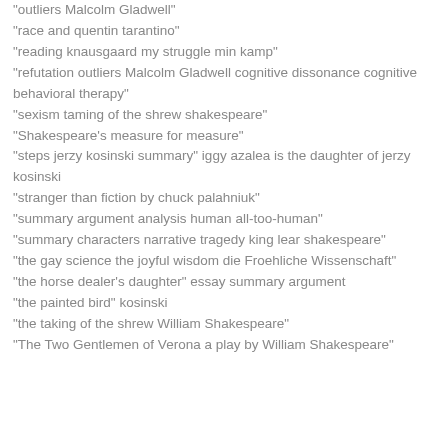"outliers Malcolm Gladwell"
"race and quentin tarantino"
"reading knausgaard my struggle min kamp"
"refutation outliers Malcolm Gladwell cognitive dissonance cognitive behavioral therapy"
"sexism taming of the shrew shakespeare"
"Shakespeare's measure for measure"
"steps jerzy kosinski summary" iggy azalea is the daughter of jerzy kosinski
"stranger than fiction by chuck palahniuk"
"summary argument analysis human all-too-human"
"summary characters narrative tragedy king lear shakespeare"
"the gay science the joyful wisdom die Froehliche Wissenschaft"
"the horse dealer's daughter" essay summary argument
"the painted bird" kosinski
"the taking of the shrew William Shakespeare"
"The Two Gentlemen of Verona a play by William Shakespeare"